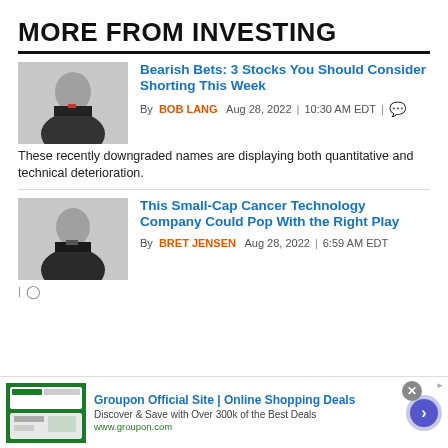MORE FROM INVESTING
[Figure (photo): Headshot of Bob Lang in suit with red tie against gray background]
Bearish Bets: 3 Stocks You Should Consider Shorting This Week
By BOB LANG  Aug 28, 2022  |  10:30 AM EDT  |
These recently downgraded names are displaying both quantitative and technical deterioration.
[Figure (photo): Headshot of Bret Jensen in suit against gray background]
This Small-Cap Cancer Technology Company Could Pop With the Right Play
By BRET JENSEN  Aug 28, 2022  |  6:59 AM EDT
[Figure (infographic): Groupon advertisement banner: Groupon Official Site | Online Shopping Deals. Discover & Save with Over 300k of the Best Deals. www.groupon.com]